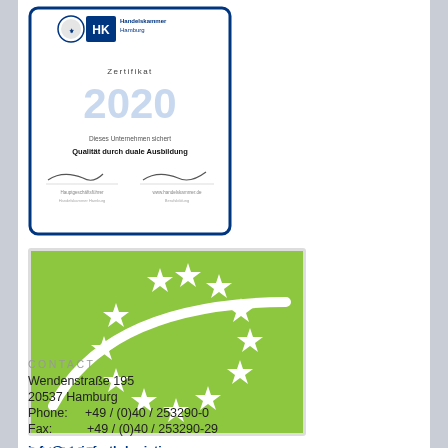[Figure (illustration): HK Handelskammer Hamburg Zertifikat 2020 certificate. Blue border, HK logo top left with blue square HK text and Hamburg crest. Text: Zertifikat 2020 in large blue numerals, Dieses Unternehmen sichert Qualität durch duale Ausbildung, two signature lines below.]
[Figure (logo): EU organic farming logo: green rectangle background with white leaf/plant curl shape and ring of 12 white stars arranged in circle around it, resembling European organic certification logo.]
CONTACT
Wendenstraße 195
20537 Hamburg
Phone:     +49 / (0)40 / 253290-0
Fax:          +49 / (0)40 / 253290-29
info@steinfurth-logistics.com